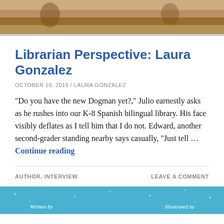[Figure (illustration): Top portion of an illustrated image showing figures in an outdoor scene with earthy brown and tan tones]
Librarian Perspective: Laura Gonzalez
OCTOBER 18, 2019 / LAURA GONZALEZ
“Do you have the new Dogman yet?,” Julio earnestly asks as he rushes into our K-8 Spanish bilingual library. His face visibly deflates as I tell him that I do not. Edward, another second-grader standing nearby says casually, “Just tell … Continue reading
AUTHOR, INTERVIEW
LEAVE A COMMENT
[Figure (illustration): Bottom portion of a book cover with a blue/teal starry background showing 'Written by' and 'Illustrated by' text]